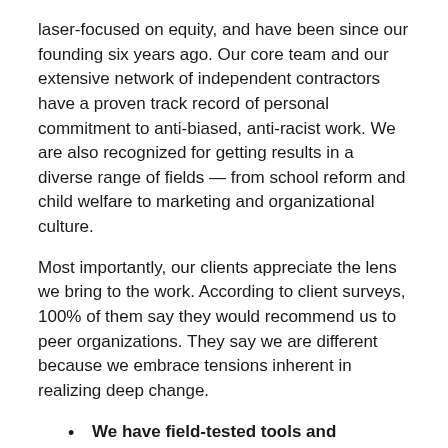laser-focused on equity, and have been since our founding six years ago. Our core team and our extensive network of independent contractors have a proven track record of personal commitment to anti-biased, anti-racist work. We are also recognized for getting results in a diverse range of fields — from school reform and child welfare to marketing and organizational culture.
Most importantly, our clients appreciate the lens we bring to the work. According to client surveys, 100% of them say they would recommend us to peer organizations. They say we are different because we embrace tensions inherent in realizing deep change.
We have field-tested tools and research-based resources — AND we believe context matters so we listen and tailor our work.
Our approach has been honed by working with nearly 50 clients and through decades of leadership experience across sectors. Our frameworks and tools are detailed and help our partners quickly diagnose areas of strength and things that